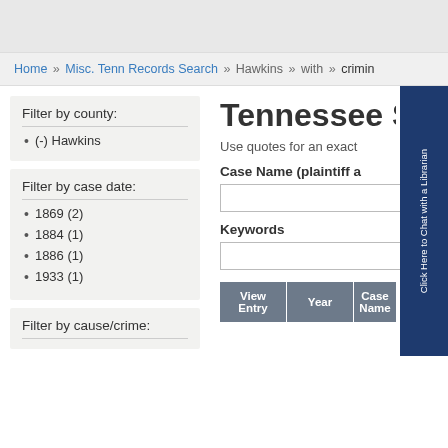Home » Misc. Tenn Records Search » Hawkins » with » crimin
Tennessee S
Use quotes for an exact
Filter by county:
(-) Hawkins
Filter by case date:
1869 (2)
1884 (1)
1886 (1)
1933 (1)
Filter by cause/crime:
Case Name (plaintiff a
Keywords
| View Entry | Year | Case Name |
| --- | --- | --- |